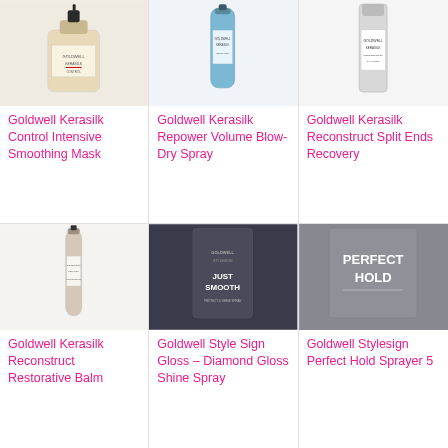[Figure (photo): Goldwell Kerasilk Control Intensive Smoothing Mask product photo - beige pump bottle]
Goldwell Kerasilk Control Intensive Smoothing Mask
[Figure (photo): Goldwell Kerasilk Repower Volume Blow-Dry Spray product photo - blue bottle]
Goldwell Kerasilk Repower Volume Blow-Dry Spray
[Figure (photo): Goldwell Kerasilk Reconstruct Split Ends Recovery product photo - silver bottle]
Goldwell Kerasilk Reconstruct Split Ends Recovery
[Figure (photo): Goldwell Kerasilk Reconstruct Restorative Balm product photo - slim bottle]
Goldwell Kerasilk Reconstruct Restorative Balm
[Figure (photo): Goldwell Style Sign Gloss – Diamond Gloss Shine Spray product photo - dark bottle with Just Smooth text]
Goldwell Style Sign Gloss – Diamond Gloss Shine Spray
[Figure (photo): Goldwell Stylesign Perfect Hold Sprayer 5 product photo - grey container with Perfect Hold text]
Goldwell Stylesign Perfect Hold Sprayer 5